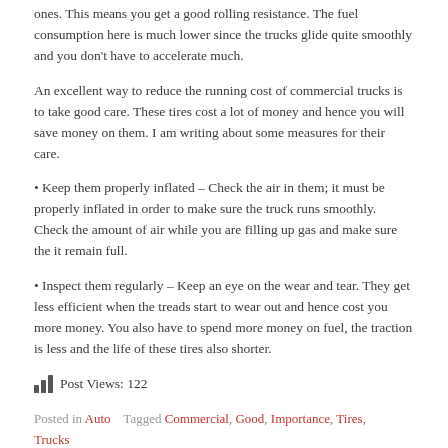ones. This means you get a good rolling resistance. The fuel consumption here is much lower since the trucks glide quite smoothly and you don't have to accelerate much.
An excellent way to reduce the running cost of commercial trucks is to take good care. These tires cost a lot of money and hence you will save money on them. I am writing about some measures for their care.
• Keep them properly inflated – Check the air in them; it must be properly inflated in order to make sure the truck runs smoothly. Check the amount of air while you are filling up gas and make sure the it remain full.
• Inspect them regularly – Keep an eye on the wear and tear. They get less efficient when the treads start to wear out and hence cost you more money. You also have to spend more money on fuel, the traction is less and the life of these tires also shorter.
Post Views: 122
Posted in Auto   Tagged Commercial, Good, Importance, Tires, Trucks